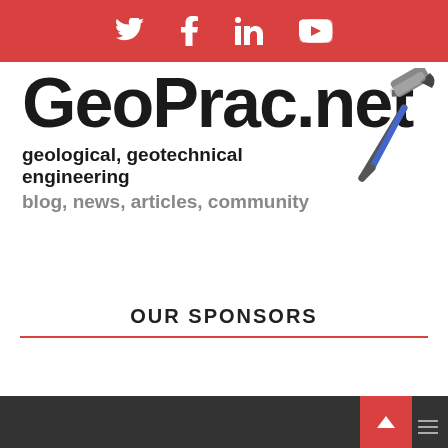Social icons: Twitter, Facebook, LinkedIn, YouTube
[Figure (logo): GeoPrac.net logo with geological pick hammer icon. Large bold text 'GeoPrac.net' with taglines 'geological, geotechnical engineering' and 'blog, news, articles, community']
OUR SPONSORS
Footer bar with back-to-top button and menu icon